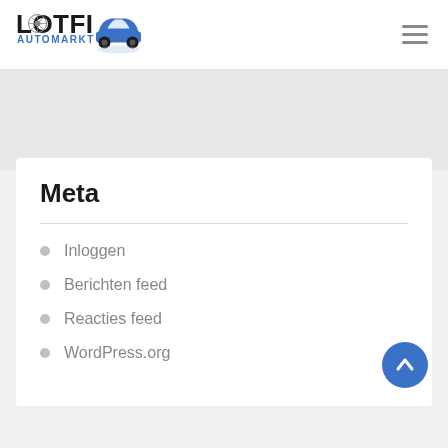LOTFI AUTOMARKT
Meta
Inloggen
Berichten feed
Reacties feed
WordPress.org